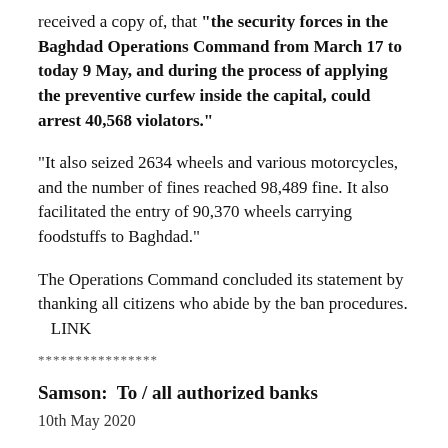received a copy of, that "the security forces in the Baghdad Operations Command from March 17 to today 9 May, and during the process of applying the preventive curfew inside the capital, could arrest 40,568 violators."
"It also seized 2634 wheels and various motorcycles, and the number of fines reached 98,489 fine. It also facilitated the entry of 90,370 wheels carrying foodstuffs to Baghdad."
The Operations Command concluded its statement by thanking all citizens who abide by the ban procedures.
   LINK
****************
Samson:  To / all authorized banks
10th May 2020